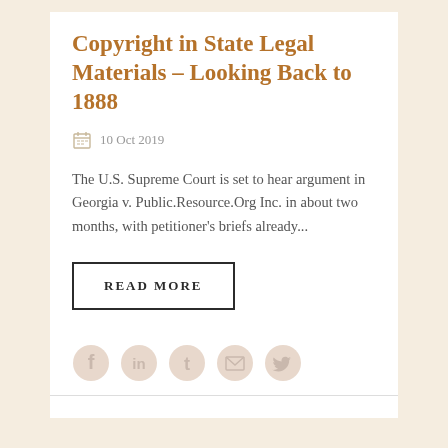Copyright in State Legal Materials – Looking Back to 1888
10 Oct 2019
The U.S. Supreme Court is set to hear argument in Georgia v. Public.Resource.Org Inc. in about two months, with petitioner's briefs already...
READ MORE
[Figure (illustration): Social media icons: Facebook, LinkedIn, Tumblr, Email, Twitter in light pink/beige color]